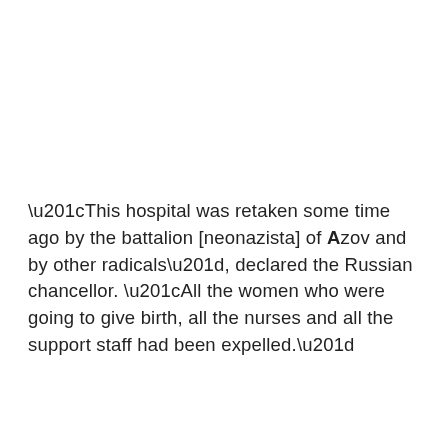“This hospital was retaken some time ago by the battalion [neonazista] of Azov and by other radicals”, declared the Russian chancellor. “All the women who were going to give birth, all the nurses and all the support staff had been expelled.”